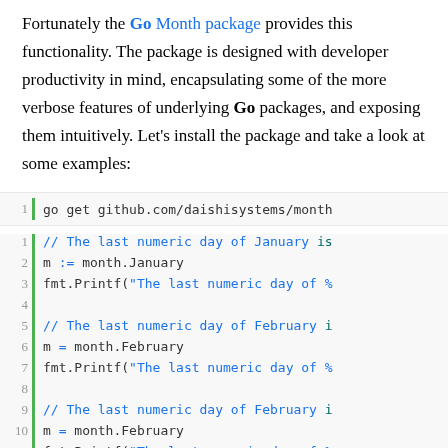Fortunately the Go Month package provides this functionality. The package is designed with developer productivity in mind, encapsulating some of the more verbose features of underlying Go packages, and exposing them intuitively. Let's install the package and take a look at some examples:
[Figure (screenshot): Code block showing: line 1: go get github.com/daishisystems/month]
[Figure (screenshot): Code block with Go source lines 1-13 showing month package usage with comments and fmt.Printf calls]